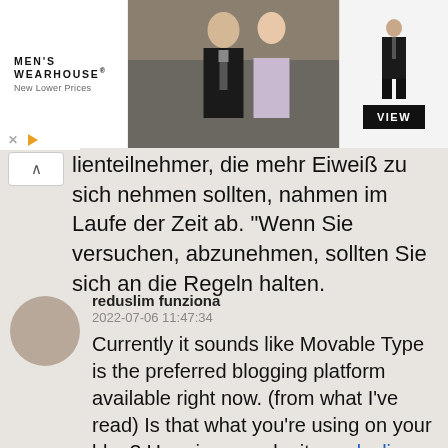[Figure (photo): Men's Wearhouse advertisement banner with logo on left, couple in formal wear in center, figure of man in suit on right side with VIEW button]
lienteilnehmer, die mehr Eiweiß zu sich nehmen sollten, nahmen im Laufe der Zeit ab. "Wenn Sie versuchen, abzunehmen, sollten Sie sich an die Regeln halten.
reduslim funziona
2022-07-06 11:47:34
Currently it sounds like Movable Type is the preferred blogging platform available right now. (from what I've read) Is that what you're using on your blog? Here is my web site; reduslim